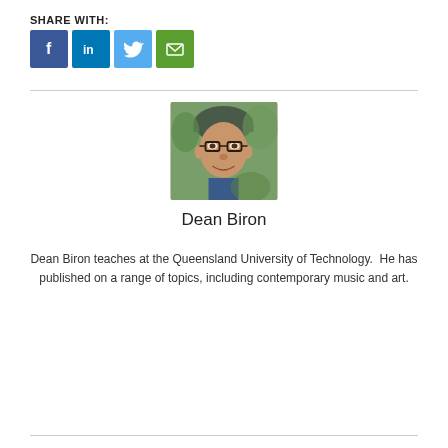SHARE WITH:
[Figure (infographic): Social media share buttons: Facebook (blue), LinkedIn (blue), Twitter (light blue), Email (green)]
[Figure (photo): Headshot photo of Dean Biron, a man wearing glasses and a dark cap, smiling, outdoors with green foliage background]
Dean Biron
Dean Biron teaches at the Queensland University of Technology.  He has published on a range of topics, including contemporary music and art.